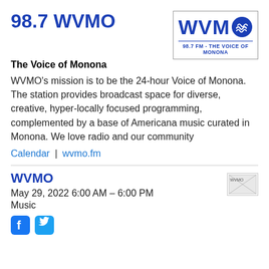98.7 WVMO
[Figure (logo): WVMO 98.7 FM - THE VOICE OF MONONA logo in blue with wave circle graphic, inside a bordered box]
The Voice of Monona
WVMO's mission is to be the 24-hour Voice of Monona. The station provides broadcast space for diverse, creative, hyper-locally focused programming, complemented by a base of Americana music curated in Monona. We love radio and our community
Calendar | wvmo.fm
WVMO
[Figure (logo): WVMO broken image placeholder thumbnail]
May 29, 2022 6:00 AM – 6:00 PM
Music
[Figure (logo): Facebook and Twitter social media icons]